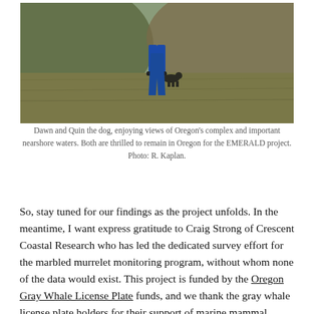[Figure (photo): Photo of a person (Dawn) and a dog (Quin) on a hillside with golden grasses and Oregon coastal hills in the background.]
Dawn and Quin the dog, enjoying views of Oregon’s complex and important nearshore waters. Both are thrilled to remain in Oregon for the EMERALD project. Photo: R. Kaplan.
So, stay tuned for our findings as the project unfolds. In the meantime, I want express gratitude to Craig Strong of Crescent Coastal Research who has led the dedicated survey effort for the marbled murrelet monitoring program, without whom none of the data would exist. This project is funded by the Oregon Gray Whale License Plate funds, and we thank the gray whale license plate holders for their support of marine mammal research.